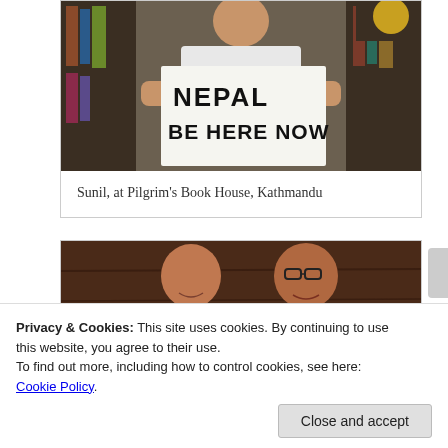[Figure (photo): Person holding a handwritten sign reading 'NEPAL BE HERE NOW' in a bookstore setting]
Sunil, at Pilgrim’s Book House, Kathmandu
[Figure (photo): Two men smiling, seated in front of a dark wooden background]
Privacy & Cookies: This site uses cookies. By continuing to use this website, you agree to their use.
To find out more, including how to control cookies, see here: Cookie Policy
Close and accept